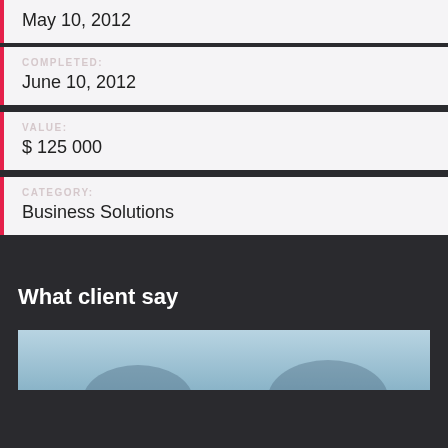May 10, 2012
COMPLETED:
June 10, 2012
VALUE:
$ 125 000
CATEGORY:
Business Solutions
What client say
[Figure (photo): Partial photo of person(s), bottom strip visible at page bottom]